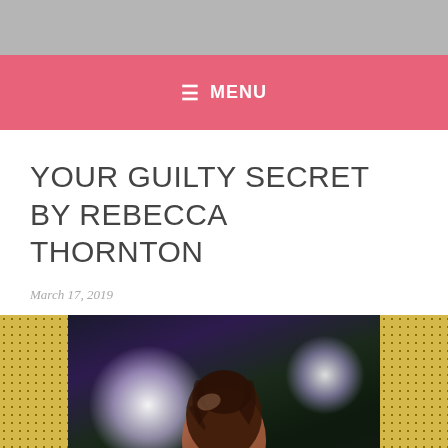≡ MENU
YOUR GUILTY SECRET BY REBECCA THORNTON
March 17, 2019
[Figure (photo): Back view of a woman with upswept hair, backlit by bright white/purple stage lights, against a dark background, flanked by yellow dotted fabric on both sides]